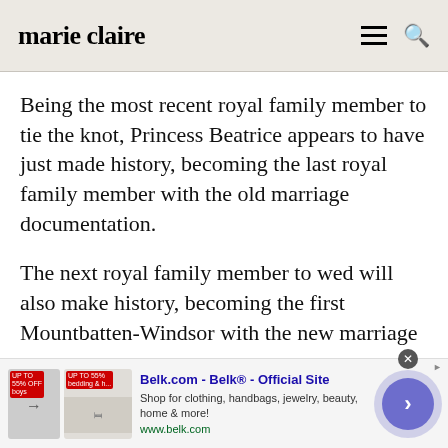marie claire
Being the most recent royal family member to tie the knot, Princess Beatrice appears to have just made history, becoming the last royal family member with the old marriage documentation.
The next royal family member to wed will also make history, becoming the first Mountbatten-Windsor with the new marriage
[Figure (screenshot): Advertisement banner for Belk.com showing clothing/bedding thumbnail images, blue title text 'Belk.com - Belk® - Official Site', description text 'Shop for clothing, handbags, jewelry, beauty, home & more!', green URL 'www.belk.com', and a purple arrow button on the right.]